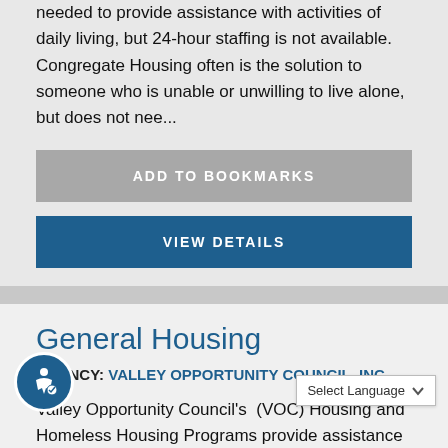needed to provide assistance with activities of daily living, but 24-hour staffing is not available. Congregate Housing often is the solution to someone who is unable or unwilling to live alone, but does not nee...
ADD TO BOOKMARKS
VIEW DETAILS
General Housing
AGENCY: VALLEY OPPORTUNITY COUNCIL, INC.
Valley Opportunity Council's (VOC) Housing and Homeless Housing Programs provide assistance for income eligible and qualified applicants to search for and obtain affordable housing. The Housing Program offers assistance and rental unit options at 15 various